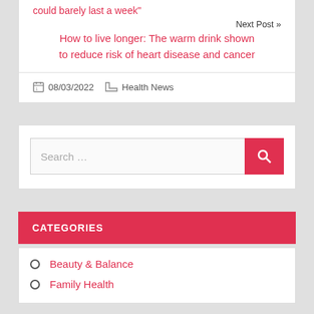could barely last a week"
Next Post »
How to live longer: The warm drink shown to reduce risk of heart disease and cancer
08/03/2022   Health News
Search …
CATEGORIES
Beauty & Balance
Family Health